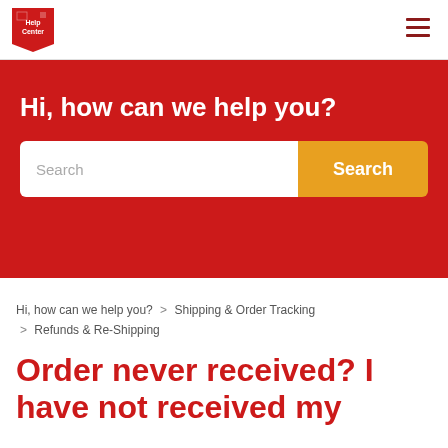Help Center
Hi, how can we help you?
Search
Hi, how can we help you? > Shipping & Order Tracking > Refunds & Re-Shipping
Order never received? I have not received my